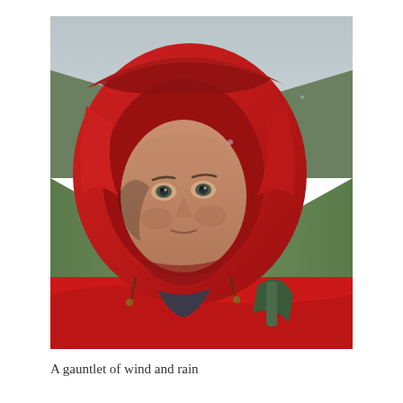[Figure (photo): A man wearing a red hooded rain jacket with the hood pulled up tightly around his face, standing on a long straight concrete path flanked by green fields, under an overcast grey sky. He is carrying a backpack visible at his shoulder. The photo is a selfie-style close-up with the road receding to a vanishing point in the background.]
A gauntlet of wind and rain